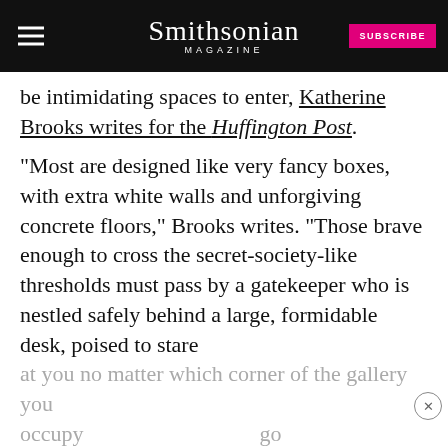Smithsonian MAGAZINE | SUBSCRIBE
be intimidating spaces to enter, Katherine Brooks writes for the Huffington Post.
“Most are designed like very fancy boxes, with extra white walls and unforgiving concrete floors,” Brooks writes. “Those brave enough to cross the secret-society-like thresholds must pass by a gatekeeper who is nestled safely behind a large, formidable desk, poised to stare at you no matter which corner of the gallery you occupy… bellow… ticles as
[Figure (screenshot): Disney Bundle advertisement banner with Hulu, Disney+, ESPN+ logos and GET THE DISNEY BUNDLE call to action button]